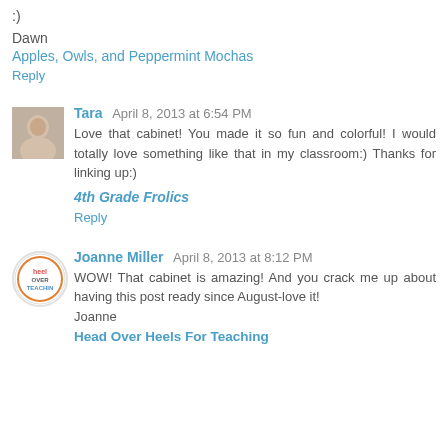:)
Dawn
Apples, Owls, and Peppermint Mochas
Reply
Tara  April 8, 2013 at 6:54 PM
Love that cabinet! You made it so fun and colorful! I would totally love something like that in my classroom:) Thanks for linking up:)
4th Grade Frolics
Reply
Joanne Miller  April 8, 2013 at 8:12 PM
WOW! That cabinet is amazing! And you crack me up about having this post ready since August-love it! Joanne
Head Over Heels For Teaching